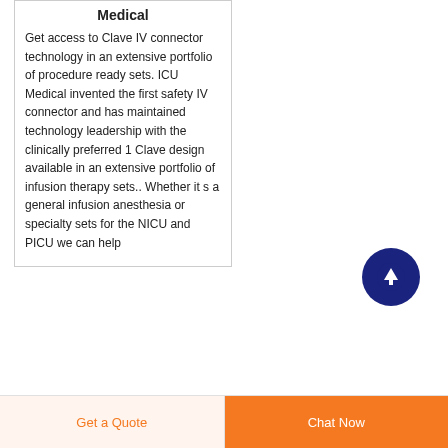Medical
Get access to Clave IV connector technology in an extensive portfolio of procedure ready sets. ICU Medical invented the first safety IV connector and has maintained technology leadership with the clinically preferred 1 Clave design available in an extensive portfolio of infusion therapy sets.. Whether it s a general infusion anesthesia or specialty sets for the NICU and PICU we can help
[Figure (illustration): Dark navy blue circular button with an upward-pointing arrow icon in white, used as a scroll-to-top button]
Get a Quote
Chat Now